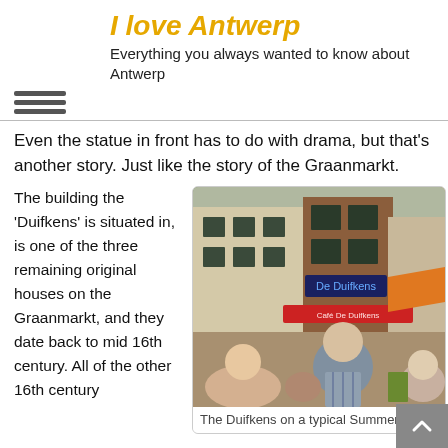I love Antwerp
Everything you always wanted to know about Antwerp
Even the statue in front has to do with drama, but that's another story. Just like the story of the Graanmarkt.
The building the 'Duifkens' is situated in, is one of the three remaining original houses on the Graanmarkt, and they date back to mid 16th century. All of the other 16th century
[Figure (photo): Street photo of the Duifkens bar/restaurant on a busy summer day with people sitting outside, showing a multi-storey building with awnings.]
The Duifkens on a typical Summer's day.